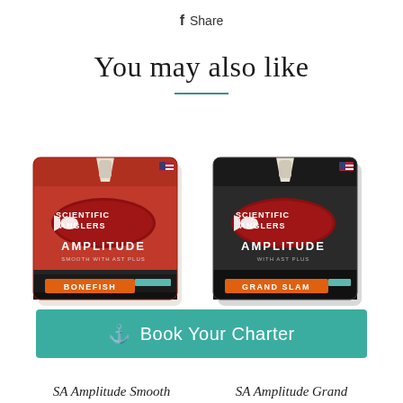Share
You may also like
[Figure (photo): Two Scientific Anglers Amplitude fly fishing line boxes: left box is red labeled 'Bonefish', right box is black labeled 'Grand Slam']
⚓ Book Your Charter
SA Amplitude Smooth    SA Amplitude Grand